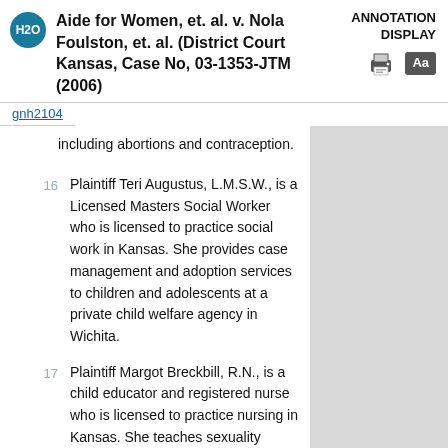Aide for Women, et. al. v. Nola Foulston, et. al. (District Court Kansas, Case No, 03-1353-JTM (2006)
ANNOTATION DISPLAY
gnh2104
including abortions and contraception.
16   Plaintiff Teri Augustus, L.M.S.W., is a Licensed Masters Social Worker who is licensed to practice social work in Kansas. She provides case management and adoption services to children and adolescents at a private child welfare agency in Wichita.
17   Plaintiff Margot Breckbill, R.N., is a child educator and registered nurse who is licensed to practice nursing in Kansas. She teaches sexuality education at various agencies and at